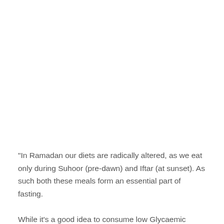“In Ramadan our diets are radically altered, as we eat only during Suhoor (pre-dawn) and Iftar (at sunset). As such both these meals form an essential part of fasting.
While it’s a good idea to consume low Glycaemic